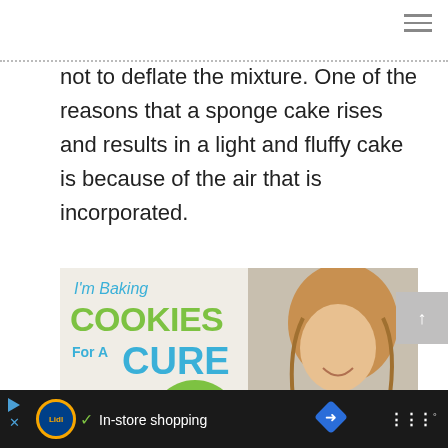not to deflate the mixture. One of the reasons that a sponge cake rises and results in a light and fluffy cake is because of the air that is incorporated.
[Figure (illustration): Advertisement banner: 'I'm Baking COOKIES For A CURE So can you!' with a smiling girl and green cookie graphic. Lidl bottom ad bar with 'In-store shopping' text.]